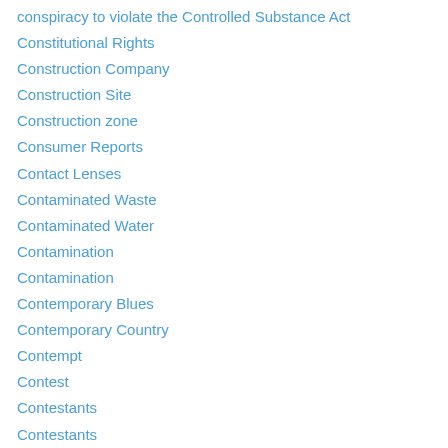conspiracy to violate the Controlled Substance Act
Constitutional Rights
Construction Company
Construction Site
Construction zone
Consumer Reports
Contact Lenses
Contaminated Waste
Contaminated Water
Contamination
Contamination
Contemporary Blues
Contemporary Country
Contempt
Contest
Contestants
Contestants
Contests
Contoocook River
Contracts